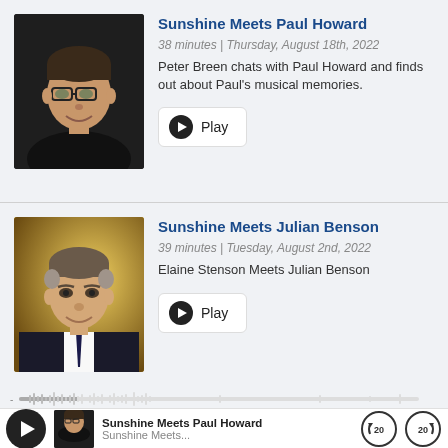Sunshine Meets Paul Howard
38 minutes | Thursday, August 18th, 2022
Peter Breen chats with Paul Howard and finds out about Paul's musical memories.
Play
Sunshine Meets Julian Benson
39 minutes | Tuesday, August 2nd, 2022
Elaine Stenson Meets Julian Benson
Play
Sunshine Meets Paul Howard
Sunshine Meets...